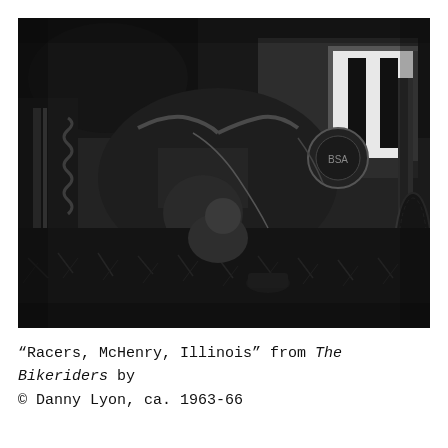[Figure (photo): Black and white photograph of motorcycles parked on grass, with riders and bystanders visible. A race number board '11' (or similar) is visible on one motorcycle. Taken at McHenry, Illinois, ca. 1963-66.]
“Racers, McHenry, Illinois” from The Bikeriders by © Danny Lyon, ca. 1963-66